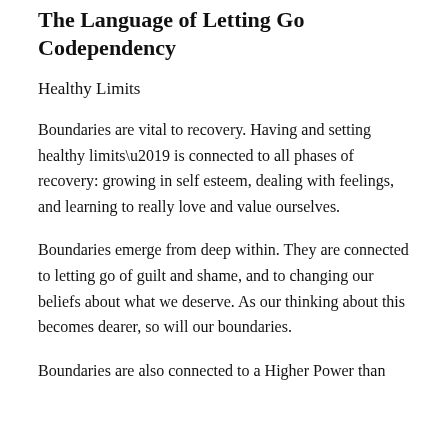The Language of Letting Go Codependency
Healthy Limits
Boundaries are vital to recovery. Having and setting healthy limits’ is connected to all phases of recovery: growing in self esteem, dealing with feelings, and learning to really love and value ourselves.
Boundaries emerge from deep within. They are connected to letting go of guilt and shame, and to changing our beliefs about what we deserve. As our thinking about this becomes dearer, so will our boundaries.
Boundaries are also connected to a Higher Power than…